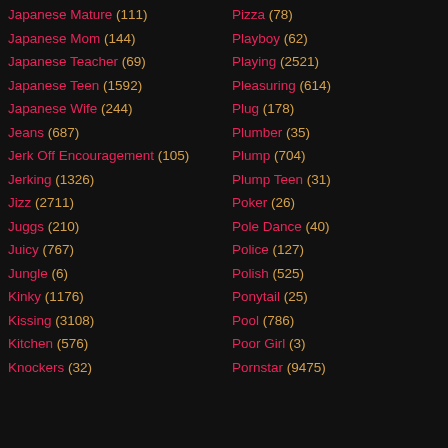Japanese Mature (111)
Japanese Mom (144)
Japanese Teacher (69)
Japanese Teen (1592)
Japanese Wife (244)
Jeans (687)
Jerk Off Encouragement (105)
Jerking (1326)
Jizz (2711)
Juggs (210)
Juicy (767)
Jungle (6)
Kinky (1176)
Kissing (3108)
Kitchen (576)
Knockers (32)
Pizza (78)
Playboy (62)
Playing (2521)
Pleasuring (614)
Plug (178)
Plumber (35)
Plump (704)
Plump Teen (31)
Poker (26)
Pole Dance (40)
Police (127)
Polish (525)
Ponytail (25)
Pool (786)
Poor Girl (3)
Pornstar (9475)